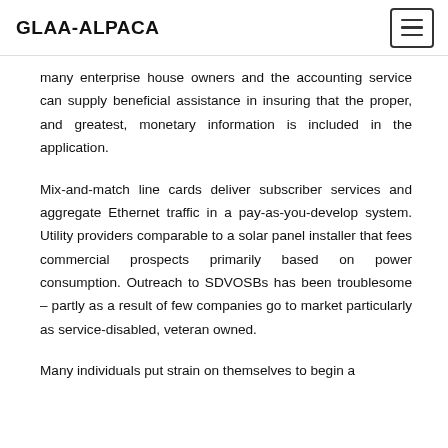GLAA-ALPACA
many enterprise house owners and the accounting service can supply beneficial assistance in insuring that the proper, and greatest, monetary information is included in the application.
Mix-and-match line cards deliver subscriber services and aggregate Ethernet traffic in a pay-as-you-develop system. Utility providers comparable to a solar panel installer that fees commercial prospects primarily based on power consumption. Outreach to SDVOSBs has been troublesome – partly as a result of few companies go to market particularly as service-disabled, veteran owned.
Many individuals put strain on themselves to begin a